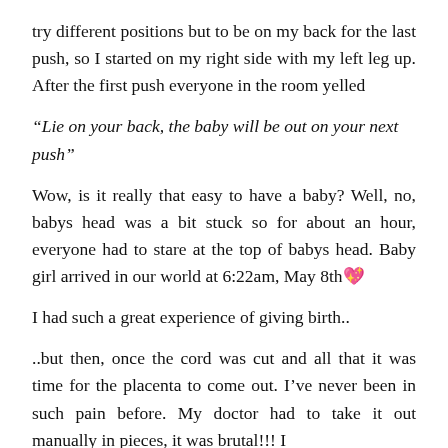try different positions but to be on my back for the last push, so I started on my right side with my left leg up. After the first push everyone in the room yelled
“Lie on your back, the baby will be out on your next push”
Wow, is it really that easy to have a baby? Well, no, babys head was a bit stuck so for about an hour, everyone had to stare at the top of babys head. Baby girl arrived in our world at 6:22am, May 8th💖
I had such a great experience of giving birth..
..but then, once the cord was cut and all that it was time for the placenta to come out. I’ve never been in such pain before. My doctor had to take it out manually in pieces, it was brutal!!! I